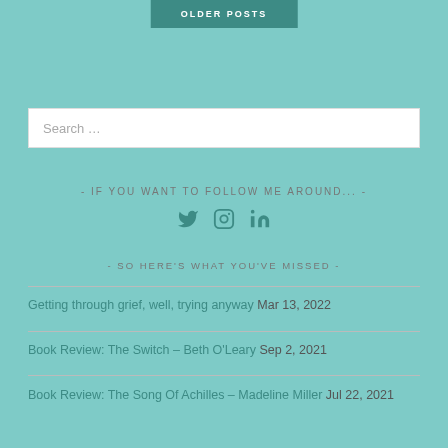[Figure (screenshot): OLDER POSTS button in teal/dark teal color at top of page]
[Figure (screenshot): Search input box with placeholder text 'Search ...']
- IF YOU WANT TO FOLLOW ME AROUND... -
[Figure (other): Social media icons: Twitter bird, Instagram camera, LinkedIn 'in' logo, all in teal color]
- SO HERE'S WHAT YOU'VE MISSED -
Getting through grief, well, trying anyway Mar 13, 2022
Book Review: The Switch – Beth O'Leary Sep 2, 2021
Book Review: The Song Of Achilles – Madeline Miller Jul 22, 2021